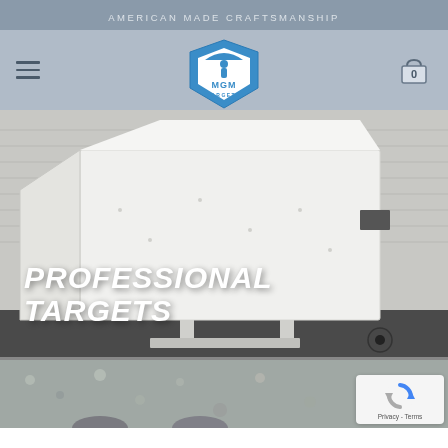AMERICAN MADE CRAFTSMANSHIP
[Figure (logo): MGM Targets logo: blue hexagon/shield shape with MGM TARGETS text and a shooter silhouette]
[Figure (photo): Large white steel shooting target trap/bullet trap on wheels, photographed outdoors against a white garage/building. Overlaid text reads PROFESSIONAL TARGETS.]
PROFESSIONAL TARGETS
[Figure (photo): Partial bottom section showing gravel ground with steel targets, partially cropped. reCAPTCHA badge in bottom right corner with Privacy and Terms links.]